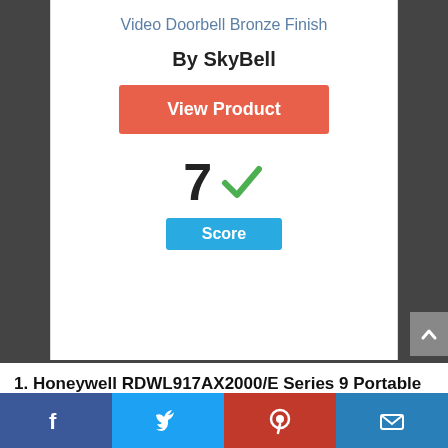Video Doorbell Bronze Finish
By SkyBell
[Figure (other): Orange 'View Product' button]
[Figure (infographic): Score display showing '7' with green checkmark and blue 'Score' label]
1. Honeywell RDWL917AX2000/E Series 9 Portable Wireless Doorbell / Door Chime & Push Button
[Figure (infographic): Social media sharing footer bar with Facebook, Twitter, Pinterest, and email icons]